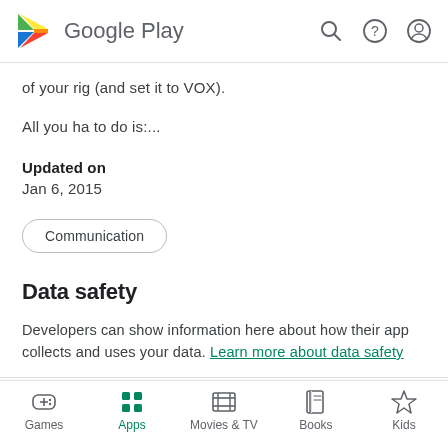Google Play
of your rig (and set it to VOX).
All you ha to do is:....
Updated on
Jan 6, 2015
Communication
Data safety
Developers can show information here about how their app collects and uses your data. Learn more about data safety
Games  Apps  Movies & TV  Books  Kids